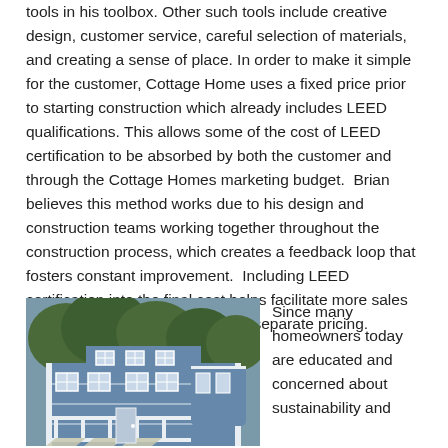tools in his toolbox. Other such tools include creative design, customer service, careful selection of materials, and creating a sense of place. In order to make it simple for the customer, Cottage Home uses a fixed price prior to starting construction which already includes LEED qualifications. This allows some of the cost of LEED certification to be absorbed by both the customer and through the Cottage Homes marketing budget.  Brian believes this method works due to his design and construction teams working together throughout the construction process, which creates a feedback loop that fosters constant improvement.  Including LEED certification into the final cost helps facilitate more sales than presenting each option with separate pricing.
[Figure (photo): A two-story blue and white house with large windows, a wraparound porch, and trees in the background.]
Since many homeowners today are educated and concerned about sustainability and